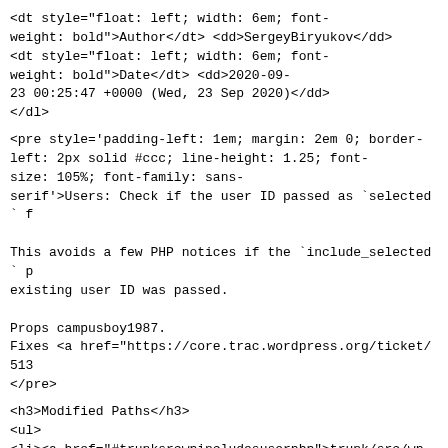<dt style="float: left; width: 6em; font-weight: bold">Author</dt> <dd>SergeyBiryukov</dd>
<dt style="float: left; width: 6em; font-weight: bold">Date</dt> <dd>2020-09-23 00:25:47 +0000 (Wed, 23 Sep 2020)</dd>
</dl>
<pre style='padding-left: 1em; margin: 2em 0; border-left: 2px solid #ccc; line-height: 1.25; font-size: 105%; font-family: sans-serif'>Users: Check if the user ID passed as `selected` f

This avoids a few PHP notices if the `include_selected` p existing user ID was passed.

Props campusboy1987.
Fixes <a href="https://core.trac.wordpress.org/ticket/513
</pre>
<h3>Modified Paths</h3>
<ul>
<li><a href="#trunksrcwpincludesuserphp">trunk/src/wp-includes/user.php</a></li>
<li>
<a href="#trunktestsphpunittestsuserwpDropdownUsersphp">t
</li>
</ul>
</div>
<div id="patch">